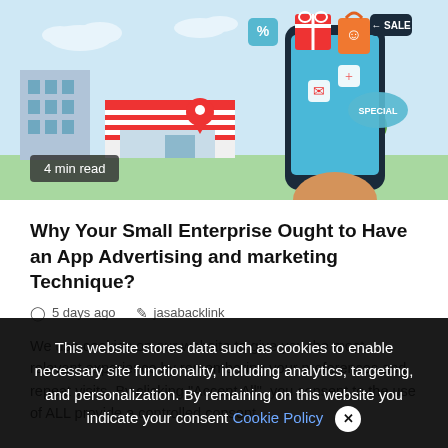[Figure (illustration): Hero illustration of a hand holding a smartphone with shopping/marketing icons (sale tags, gift, email, location pin, percentage badges) floating around it, with a city street and striped shop awning in the background. Light blue sky background.]
4 min read
Why Your Small Enterprise Ought to Have an App Advertising and marketing Technique?
5 days ago   jasabacklink
We use cookies on our website to give you the most relevant experience by remembering your preferences and repeat visits. By clicking "Accept All", you consent to the use of ALL provide a controlled consent.
This website stores data such as cookies to enable necessary site functionality, including analytics, targeting, and personalization. By remaining on this website you indicate your consent Cookie Policy